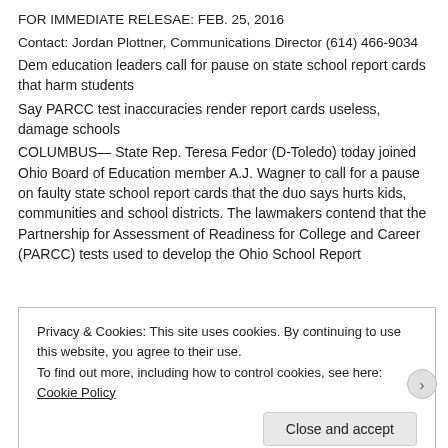FOR IMMEDIATE RELESAE: FEB. 25, 2016
Contact: Jordan Plottner, Communications Director (614) 466-9034
Dem education leaders call for pause on state school report cards that harm students
Say PARCC test inaccuracies render report cards useless, damage schools
COLUMBUS— State Rep. Teresa Fedor (D-Toledo) today joined Ohio Board of Education member A.J. Wagner to call for a pause on faulty state school report cards that the duo says hurts kids, communities and school districts. The lawmakers contend that the Partnership for Assessment of Readiness for College and Career (PARCC) tests used to develop the Ohio School Report
Privacy & Cookies: This site uses cookies. By continuing to use this website, you agree to their use.
To find out more, including how to control cookies, see here: Cookie Policy